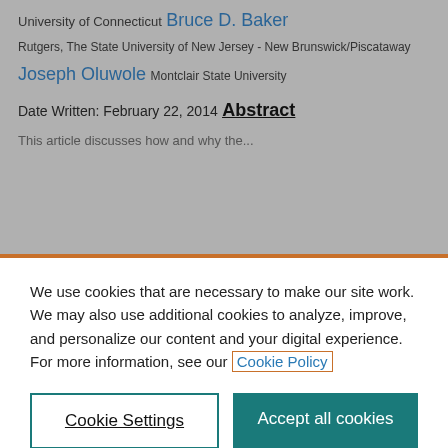University of Connecticut
Bruce D. Baker
Rutgers, The State University of New Jersey - New Brunswick/Piscataway
Joseph Oluwole
Montclair State University
Date Written: February 22, 2014
Abstract
We use cookies that are necessary to make our site work. We may also use additional cookies to analyze, improve, and personalize our content and your digital experience. For more information, see our Cookie Policy
Cookie Settings
Accept all cookies